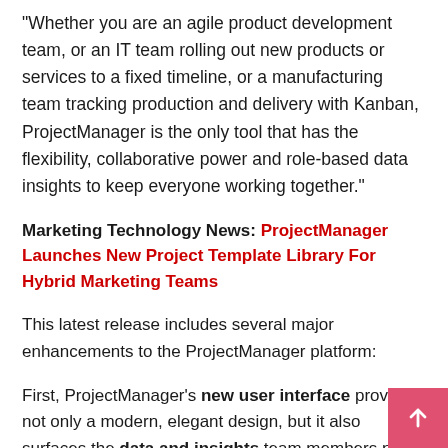"Whether you are an agile product development team, or an IT team rolling out new products or services to a fixed timeline, or a manufacturing team tracking production and delivery with Kanban, ProjectManager is the only tool that has the flexibility, collaborative power and role-based data insights to keep everyone working together."
Marketing Technology News: ProjectManager Launches New Project Template Library For Hybrid Marketing Teams
This latest release includes several major enhancements to the ProjectManager platform:
First, ProjectManager's new user interface provides not only a modern, elegant design, but it also surfaces the data and insights team members need much more quickly than before, which improves tool adoption, project delivery and collaboration. In particular, new